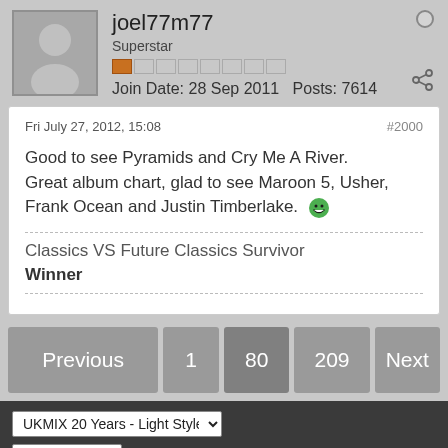joel77m77
Superstar
Join Date: 28 Sep 2011  Posts: 7614
Fri July 27, 2012, 15:08
#2000
Good to see Pyramids and Cry Me A River. Great album chart, glad to see Maroon 5, Usher, Frank Ocean and Justin Timberlake. 😁
Classics VS Future Classics Survivor
Winner
Previous  1  80  209  Next
UKMIX 20 Years - Light Style
Go to